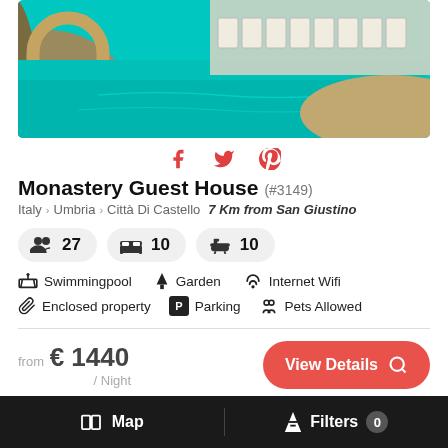[Figure (photo): Swimming pool with stone arch and white chairs in background, turquoise water]
f  🐦  P  (social share icons)
Monastery Guest House (#3149)
Italy > Umbria > Città Di Castello  7 Km from San Giustino
27 guests  10 bedrooms  10 bathrooms
Swimmingpool  Garden  Internet Wifi
Enclosed property  Parking  Pets Allowed
from € 1440 / Night
View Details
Map  Filters 0